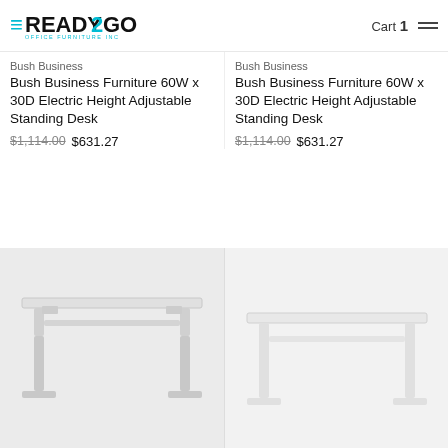Ready2Go Office Furniture Inc — Cart 1
Bush Business Furniture 60W x 30D Electric Height Adjustable Standing Desk
$1,114.00 $631.27
Bush Business Furniture 60W x 30D Electric Height Adjustable Standing Desk
$1,114.00 $631.27
[Figure (photo): Electric height adjustable standing desk with white frame and T-shaped legs, shown from a front-angle view]
[Figure (photo): Electric height adjustable standing desk, similar model, lighter/blank background]